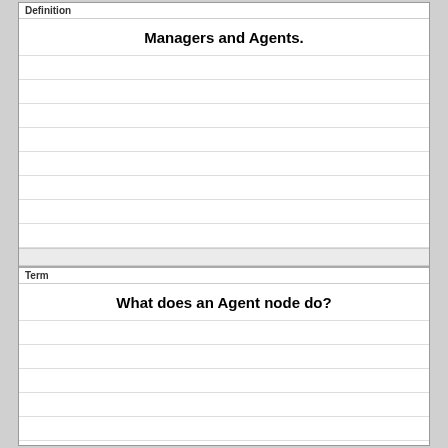Definition
Managers and Agents.
Term
What does an Agent node do?